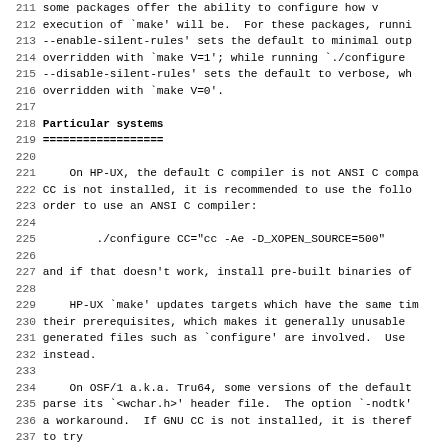Lines 211-243 of a software installation/configuration text file showing instructions about silent rules and particular system configurations for HP-UX and OSF/1 a.k.a. Tru64.